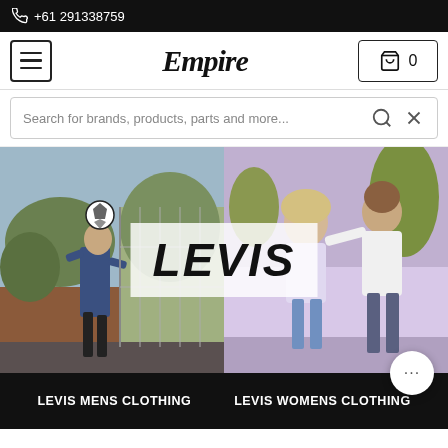+61 291338759
[Figure (logo): Empire store logo in italic script font]
Search for brands, products, parts and more...
[Figure (photo): Left: man balancing soccer ball on head in denim jacket outdoors; Right: smiling couple (blonde woman and tall man in white tee) outdoors with Levis overlay text]
LEVIS MENS CLOTHING    LEVIS WOMENS CLOTHING